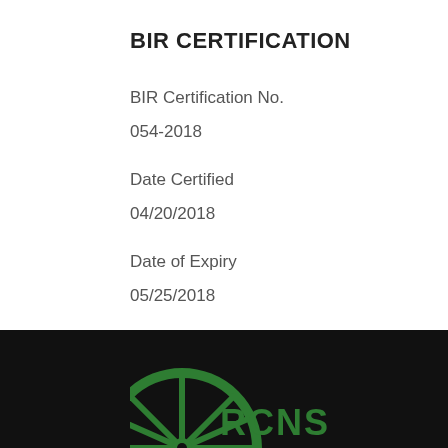BIR CERTIFICATION
BIR Certification No.
054-2018
Date Certified
04/20/2018
Date of Expiry
05/25/2018
[Figure (logo): Partial green wheel/spoke logo with text 'RCNS' in green on black background footer]